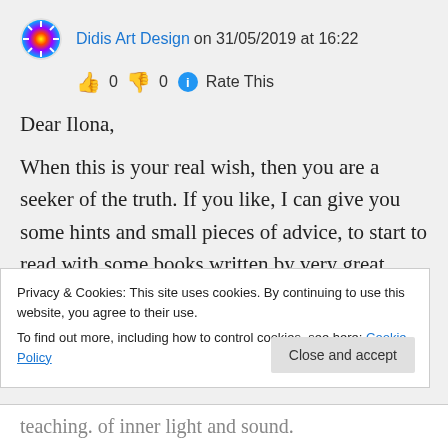Didis Art Design on 31/05/2019 at 16:22
👍 0 👎 0 ℹ Rate This
Dear Ilona,

When this is your real wish, then you are a seeker of the truth. If you like, I can give you some hints and small pieces of advice, to start to read with some books written by very great wise men. They, in fact, have given a living example with their life. how to
Privacy & Cookies: This site uses cookies. By continuing to use this website, you agree to their use.
To find out more, including how to control cookies, see here: Cookie Policy
Close and accept
teaching. of inner light and sound.